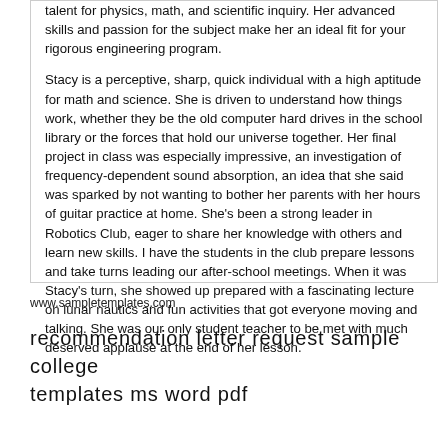talent for physics, math, and scientific inquiry. Her advanced skills and passion for the subject make her an ideal fit for your rigorous engineering program.

Stacy is a perceptive, sharp, quick individual with a high aptitude for math and science. She is driven to understand how things work, whether they be the old computer hard drives in the school library or the forces that hold our universe together. Her final project in class was especially impressive, an investigation of frequency-dependent sound absorption, an idea that she said was sparked by not wanting to bother her parents with her hours of guitar practice at home. She's been a strong leader in Robotics Club, eager to share her knowledge with others and learn new skills. I have the students in the club prepare lessons and take turns leading our after-school meetings. When it was Stacy's turn, she showed up prepared with a fascinating lecture on lunar nautics and fun activities that got everyone moving and talking. She was our only student teacher to be met with much deserved applause at the end of her lesson.
www.sampletemplates.com
recommendation letter request sample college templates ms word pdf